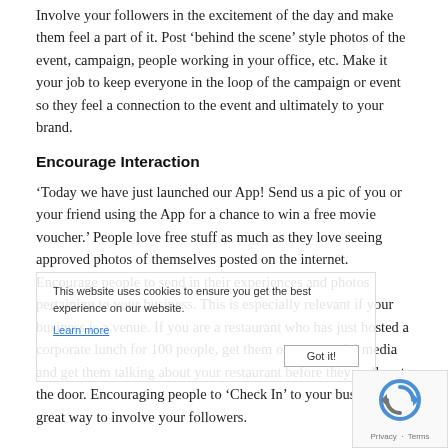Involve your followers in the excitement of the day and make them feel a part of it. Post ‘behind the scene’ style photos of the event, campaign, people working in your office, etc. Make it your job to keep everyone in the loop of the campaign or event so they feel a connection to the event and ultimately to your brand.
Encourage Interaction
‘Today we have just launched our App! Send us a pic of you or your friend using the App for a chance to win a free movie voucher.’ People love free stuff as much as they love seeing approved photos of themselves posted on the internet. Encourage people to send in their experiences and photos pertaining to your business. This is especially relevant if your business is a venue. If you are a restaurant who has just hosted a corporate lunch for 100 people, get them on your social media and get them talking about your restaurant before they walk out the door. Encouraging people to ‘Check In’ to your business is a great way to involve your followers.